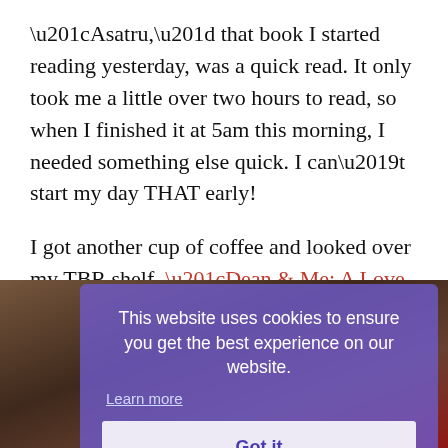“Asatru,” that book I started reading yesterday, was a quick read. It only took me a little over two hours to read, so when I finished it at 5am this morning, I needed something else quick. I can’t start my day THAT early!
I got another cup of coffee and looked over my TBR shelf. “Dean & Me: A Love Story” by Jerry Lewis and James Kaplan has been looking back at me for a few days now, so I decided to heed the call.
[Figure (photo): Partially visible photo of books, obscured by cookie consent overlay]
This website uses cookies to ensure you get the best experience on our website.
Learn more
Got it